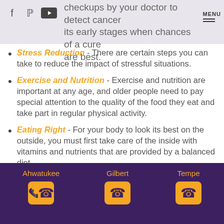checkups by your doctor to detect cancer in its early stages when chances of a cure are best.
are best.
Stress Reduction - There are certain steps you can take to reduce the impact of stressful situations.
Exercise and Nutrition - Exercise and nutrition are important at any age, and older people need to pay special attention to the quality of the food they eat and take part in regular physical activity.
Eating Right - For your body to look its best on the outside, you must first take care of the inside with vitamins and nutrients that are provided by a balanced diet.
Ahwatukee    Gilbert    Tempe